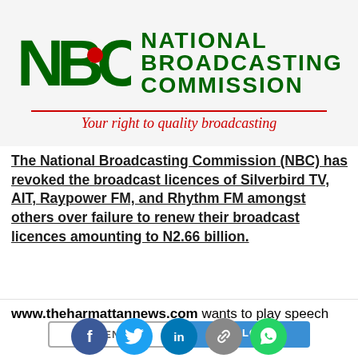[Figure (logo): National Broadcasting Commission (NBC) logo with green NBC letters, tagline in red italic 'Your right to quality broadcasting']
The National Broadcasting Commission (NBC) has revoked the broadcast licences of Silverbird TV, AIT, Raypower FM, and Rhythm FM amongst others over failure to renew their broadcast licences amounting to N2.66 billion.
www.theharmattannews.com wants to play speech
[Figure (screenshot): Browser notification prompt with DENY and ALLOW buttons]
[Figure (infographic): Social sharing icons: Facebook, Twitter, LinkedIn, Link, WhatsApp]